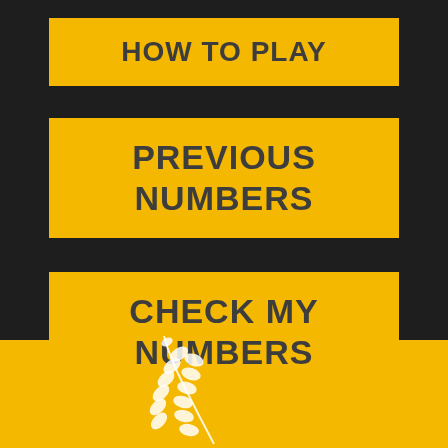HOW TO PLAY
PREVIOUS NUMBERS
CHECK MY NUMBERS
[Figure (illustration): White wheat stalk illustration on gold background in the footer area]